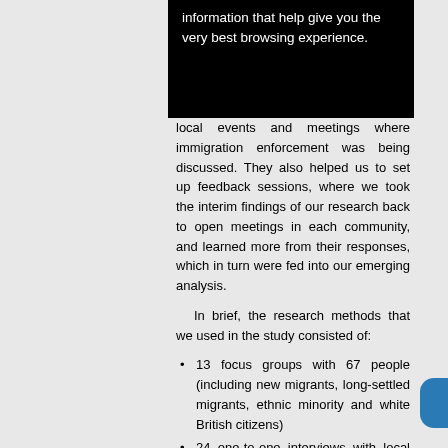[Figure (screenshot): Black banner with white text reading 'information that help give you the very best browsing experience.']
local events and meetings where immigration enforcement was being discussed. They also helped us to set up feedback sessions, where we took the interim findings of our research back to open meetings in each community, and learned more from their responses, which in turn were fed into our emerging analysis.
In brief, the research methods that we used in the study consisted of:
13 focus groups with 67 people (including new migrants, long-settled migrants, ethnic minority and white British citizens)
24 one-to-one interviews with local activists